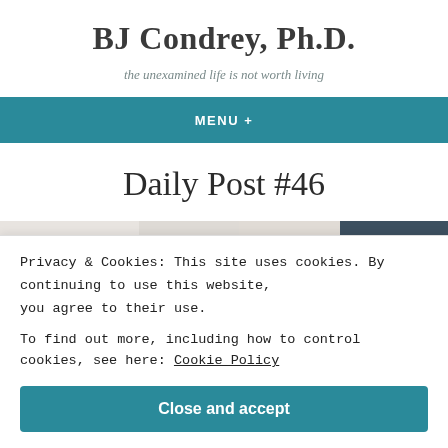BJ Condrey, Ph.D.
the unexamined life is not worth living
MENU +
Daily Post #46
[Figure (photo): Strip of images showing typewriters against light backgrounds, with a dark slate panel on the right]
Privacy & Cookies: This site uses cookies. By continuing to use this website, you agree to their use.
To find out more, including how to control cookies, see here: Cookie Policy
Close and accept